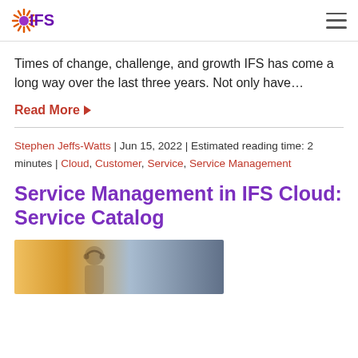IFS
Times of change, challenge, and growth IFS has come a long way over the last three years. Not only have…
Read More
Stephen Jeffs-Watts | Jun 15, 2022 | Estimated reading time: 2 minutes | Cloud, Customer, Service, Service Management
Service Management in IFS Cloud: Service Catalog
[Figure (photo): Partial thumbnail image of a person wearing a headset, background with warm and cool tones]